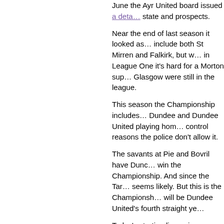June the Ayr United board issued a detail... state and prospects.
Near the end of last season it looked as... include both St Mirren and Falkirk, but w... in League One it's hard for a Morton sup... Glasgow were still in the league.
This season the Championship includes... Dundee and Dundee United playing hom... control reasons the police don't allow it.
The savants at Pie and Bovril have Dunc... win the Championship. And since the Tar... seems likely. But this is the Championsh... will be Dundee United's fourth straight ye...
Today's starting lineup is [Ramsbottom, T... Grant, Jacobs, McAlister, Muirhead, Ne...
Compare last year's: Scully, Kilday, Buch... Tidser, Tumilty, MacLean, McKeown.
The other Championship matches:
Alloa [1 - 1] Partick Thistle